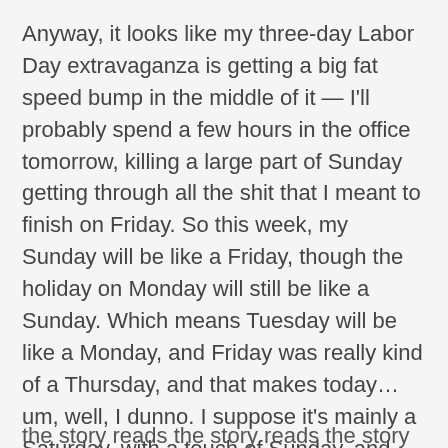Anyway, it looks like my three-day Labor Day extravaganza is getting a big fat speed bump in the middle of it — I'll probably spend a few hours in the office tomorrow, killing a large part of Sunday getting through all the shit that I meant to finish on Friday. So this week, my Sunday will be like a Friday, though the holiday on Monday will still be like a Sunday. Which means Tuesday will be like a Monday, and Friday was really kind of a Thursday, and that makes today… um, well, I dunno. I suppose it's mainly a Saturday, with a touch of Sunday, and just a pinch of Thursday or Friday in there. These three-day weekends really throw my calendar off.
I miss my fried computer, though.
(Hah! I'm back on track! Suck that, assbadgers who think I can't stay on topic. Yeah, baby!)
the story reads the story reads the story from the...